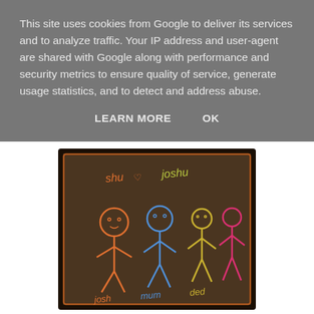This site uses cookies from Google to deliver its services and to analyze traffic. Your IP address and user-agent are shared with Google along with performance and security metrics to ensure quality of service, generate usage statistics, and to detect and address abuse.
LEARN MORE   OK
[Figure (photo): A child's chalk drawing on a dark board showing stick figure family members labeled 'shu', 'joshu', 'mum', 'ded', drawn in orange, blue, yellow and pink chalk.]